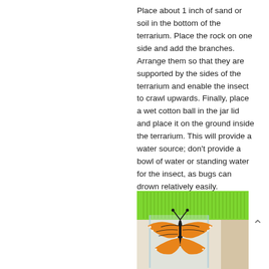Place about 1 inch of sand or soil in the bottom of the terrarium. Place the rock on one side and add the branches. Arrange them so that they are supported by the sides of the terrarium and enable the insect to crawl upwards. Finally, place a wet cotton ball in the jar lid and place it on the ground inside the terrarium. This will provide a water source; don't provide a bowl of water or standing water for the insect, as bugs can drown relatively easily.
[Figure (photo): A monarch butterfly hanging inside a clear plastic container with a bright green lid, photographed from below or at an angle showing its orange and black wing pattern.]